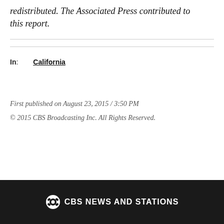redistributed. The Associated Press contributed to this report.
In: California
First published on August 23, 2015 / 3:50 PM
© 2015 CBS Broadcasting Inc. All Rights Reserved.
CBS NEWS AND STATIONS